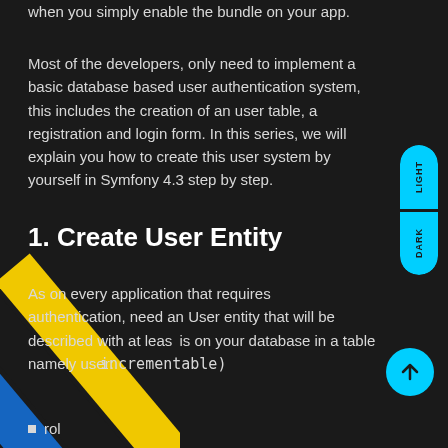when you simply enable the bundle on your app.
Most of the developers, only need to implement a basic database based user authentication system, this includes the creation of an user table, a registration and login form. In this series, we will explain you how to create this user system by yourself in Symfony 4.3 step by step.
1. Create User Entity
As on every application that requires authentication, need an User entity that will be described with at least is on your database in a table namely user:
incrementable)
rol